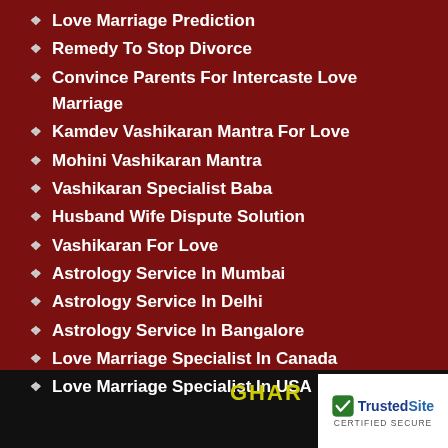Love Marriage Prediction
Remedy To Stop Divorce
Convince Parents For Intercaste Love Marriage
Kamdev Vashikaran Mantra For Love
Mohini Vashikaran Mantra
Vashikaran Specialist Baba
Husband Wife Dispute Solution
Vashikaran For Love
Astrology Service In Mumbai
Astrology Service In Delhi
Astrology Service In Bangalore
Love Marriage Specialist In Canada
Love Marriage Specialist In USA
GHAR
[Figure (logo): TrustedSite certified secure badge]